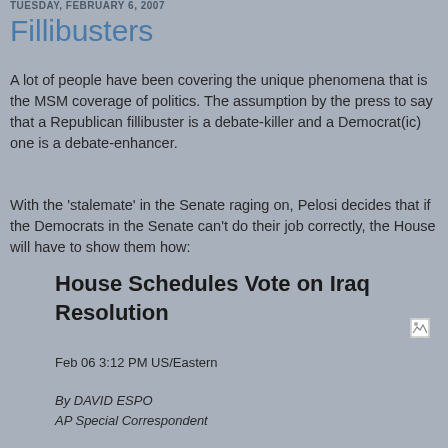TUESDAY, FEBRUARY 6, 2007
Fillibusters
A lot of people have been covering the unique phenomena that is the MSM coverage of politics. The assumption by the press to say that a Republican fillibuster is a debate-killer and a Democrat(ic) one is a debate-enhancer.
With the 'stalemate' in the Senate raging on, Pelosi decides that if the Democrats in the Senate can't do their job correctly, the House will have to show them how:
House Schedules Vote on Iraq Resolution
Feb 06 3:12 PM US/Eastern
By DAVID ESPO
AP Special Correspondent